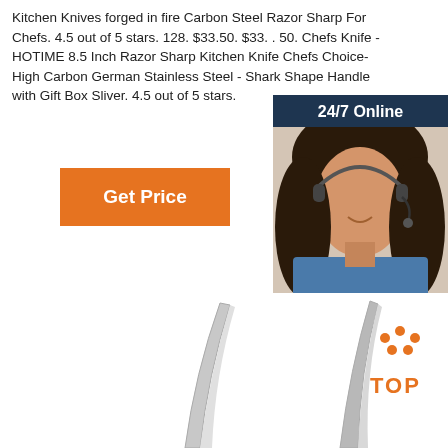Kitchen Knives forged in fire Carbon Steel Razor Sharp For Chefs. 4.5 out of 5 stars. 128. $33.50. $33. . 50. Chefs Knife - HOTIME 8.5 Inch Razor Sharp Kitchen Knife Chefs Choice- High Carbon German Stainless Steel - Shark Shape Handle with Gift Box Sliver. 4.5 out of 5 stars.
[Figure (other): Orange 'Get Price' button]
[Figure (other): 24/7 Online chat widget with woman wearing headset, 'Click here for free chat!' text, and orange QUOTATION button on dark navy background]
[Figure (photo): Bottom portion of kitchen knives (blade tips visible) on white background, with orange TOP badge in lower right corner]